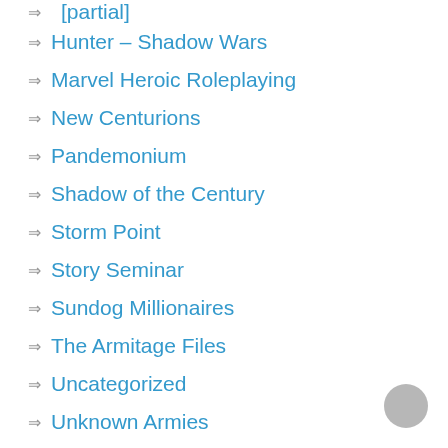Hunter – Shadow Wars
Marvel Heroic Roleplaying
New Centurions
Pandemonium
Shadow of the Century
Storm Point
Story Seminar
Sundog Millionaires
The Armitage Files
Uncategorized
Unknown Armies
What's he playing?
What's he reading?